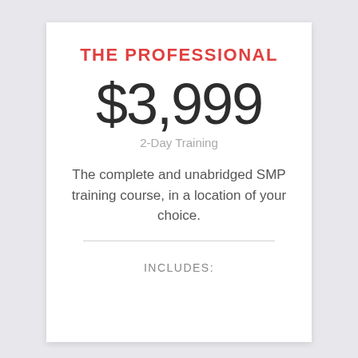THE PROFESSIONAL
$3,999
2-Day Training
The complete and unabridged SMP training course, in a location of your choice.
INCLUDES: